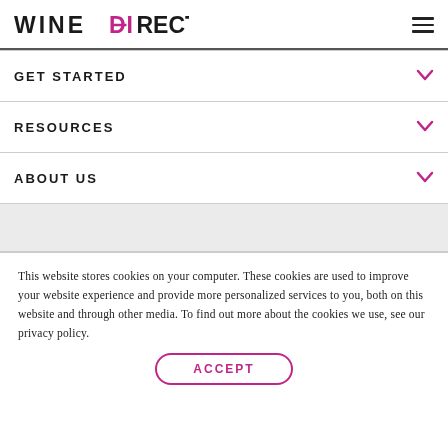WINEDIRECT
GET STARTED
RESOURCES
ABOUT US
This website stores cookies on your computer. These cookies are used to improve your website experience and provide more personalized services to you, both on this website and through other media. To find out more about the cookies we use, see our privacy policy.
ACCEPT